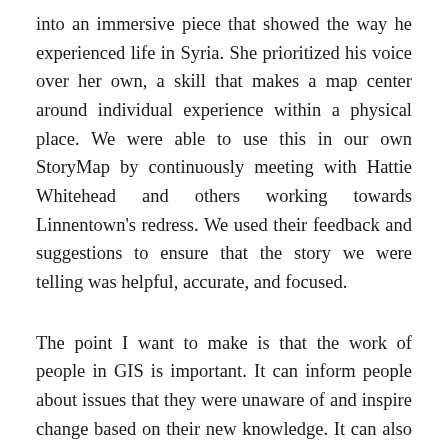into an immersive piece that showed the way he experienced life in Syria. She prioritized his voice over her own, a skill that makes a map center around individual experience within a physical place. We were able to use this in our own StoryMap by continuously meeting with Hattie Whitehead and others working towards Linnentown's redress. We used their feedback and suggestions to ensure that the story we were telling was helpful, accurate, and focused.
The point I want to make is that the work of people in GIS is important. It can inform people about issues that they were unaware of and inspire change based on their new knowledge. It can also provide evidence of reality to powerful people that have the resources to aid causes and fix problems. This is one of the first times that I have worked on a project with “real” data and the goal of being shared - the skills that I learned